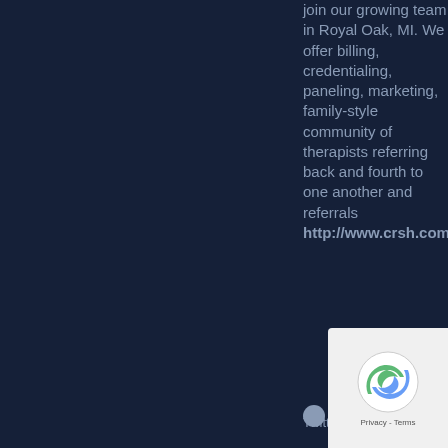join our growing team in Royal Oak, MI. We offer billing, credentialing, paneling, marketing, family-style community of therapists referring back and fourth to one another and referrals http://www.crsh.com
Twitter:
[Figure (screenshot): reCAPTCHA widget showing the recycling arrows logo with 'Privacy - Terms' text below]